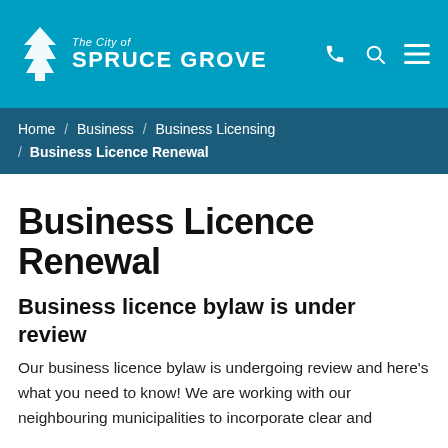The City of Spruce Grove
Home / Business / Business Licensing / Business Licence Renewal
Business Licence Renewal
Business licence bylaw is under review
Our business licence bylaw is undergoing review and here's what you need to know! We are working with our neighbouring municipalities to incorporate clear and